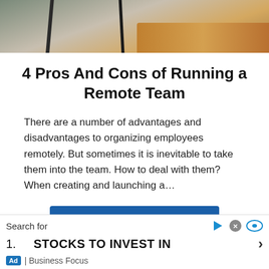[Figure (photo): Partial photo of a workspace with chair legs and a wooden desk surface visible]
4 Pros And Cons of Running a Remote Team
There are a number of advantages and disadvantages to organizing employees remotely. But sometimes it is inevitable to take them into the team. How to deal with them? When creating and launching a...
CONTINUE READING
Search for
1.  STOCKS TO INVEST IN
Ad | Business Focus